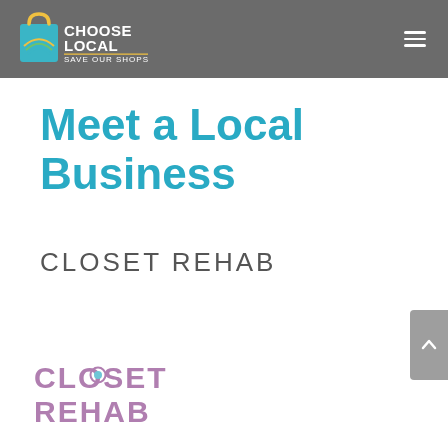CHOOSE LOCAL SAVE OUR SHOPS
Meet a Local Business
CLOSET REHAB
[Figure (logo): Closet Rehab logo with text in purple/mauve color]